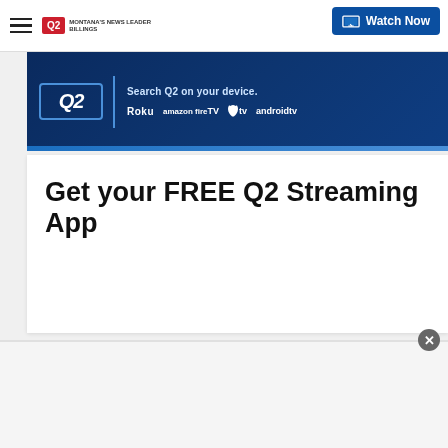Q2 Montana's News Leader | Watch Now
[Figure (infographic): Q2 streaming app banner: dark blue background with Q2 logo, text 'Search Q2 on your device.' and platform icons for Roku, amazon fire tv, Apple TV, android tv]
Get your FREE Q2 Streaming App
[Figure (infographic): Bottom advertisement popup banner with close button (x)]